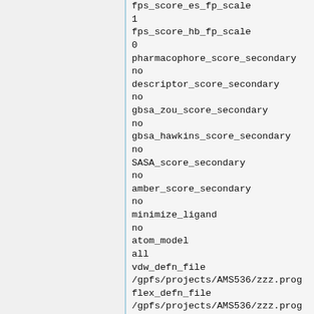fps_score_es_fp_scale
1
fps_score_hb_fp_scale
0
pharmacophore_score_secondary
no
descriptor_score_secondary
no
gbsa_zou_score_secondary
no
gbsa_hawkins_score_secondary
no
SASA_score_secondary
no
amber_score_secondary
no
minimize_ligand
no
atom_model
all
vdw_defn_file
/gpfs/projects/AMS536/zzz.prog
flex_defn_file
/gpfs/projects/AMS536/zzz.prog
flex_drive_file